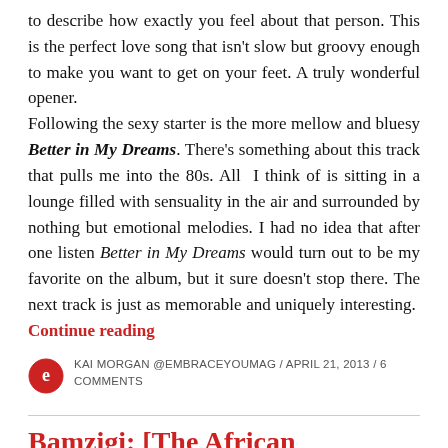to describe how exactly you feel about that person. This is the perfect love song that isn't slow but groovy enough to make you want to get on your feet. A truly wonderful opener.
Following the sexy starter is the more mellow and bluesy Better in My Dreams. There's something about this track that pulls me into the 80s. All I think of is sitting in a lounge filled with sensuality in the air and surrounded by nothing but emotional melodies. I had no idea that after one listen Better in My Dreams would turn out to be my favorite on the album, but it sure doesn't stop there. The next track is just as memorable and uniquely interesting. Continue reading
KAI MORGAN @EMBRACEYOUMAG / APRIL 21, 2013 / 6 COMMENTS
Bamzigi: [The African Superman]